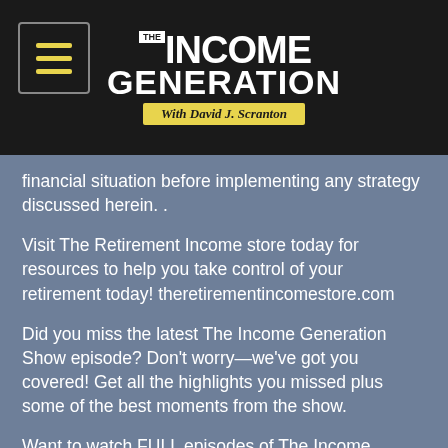[Figure (logo): The Income Generation with David J. Scranton logo on dark background with hamburger menu icon]
financial situation before implementing any strategy discussed herein. .
Visit The Retirement Income store today for resources to help you take control of your retirement today! theretirementincomestore.com
Did you miss the latest The Income Generation Show episode? Don't worry—we've got you covered! Get all the highlights you missed plus some of the best moments from the show.
Want to watch FULL episodes of The Income Generation Show? Make sure to go to The Income Generation Show (Full Episodes) at: